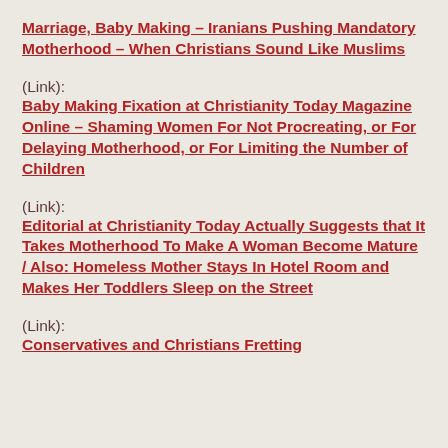Marriage, Baby Making – Iranians Pushing Mandatory Motherhood – When Christians Sound Like Muslims
(Link):  Baby Making Fixation at Christianity Today Magazine Online – Shaming Women For Not Procreating, or For Delaying Motherhood, or For Limiting the Number of Children
(Link):  Editorial at Christianity Today Actually Suggests that It Takes Motherhood To Make A Woman Become Mature / Also: Homeless Mother Stays In Hotel Room and Makes Her Toddlers Sleep on the Street
(Link):  Conservatives and Christians Fretting